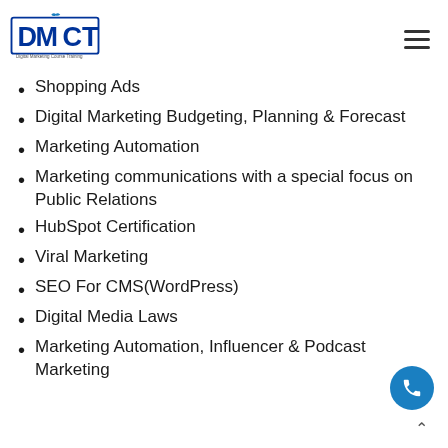DMCT Digital Marketing Course Training
Shopping Ads
Digital Marketing Budgeting, Planning & Forecast
Marketing Automation
Marketing communications with a special focus on Public Relations
HubSpot Certification
Viral Marketing
SEO For CMS(WordPress)
Digital Media Laws
Marketing Automation, Influencer & Podcast Marketing